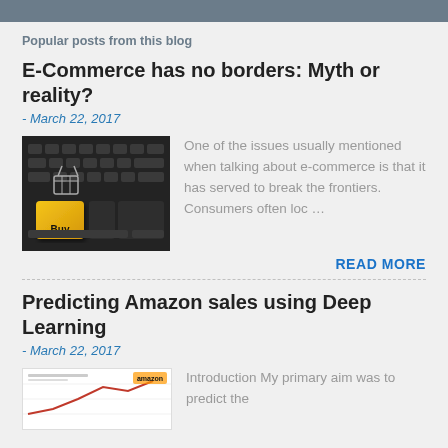Popular posts from this blog
E-Commerce has no borders: Myth or reality?
- March 22, 2017
[Figure (photo): Keyboard with yellow Buy key and shopping basket]
One of the issues usually mentioned when talking about e-commerce is that it has served to break the frontiers. Consumers often loc …
READ MORE
Predicting Amazon sales using Deep Learning
- March 22, 2017
[Figure (screenshot): Paper or chart thumbnail for Amazon sales prediction post]
Introduction My primary aim was to predict the